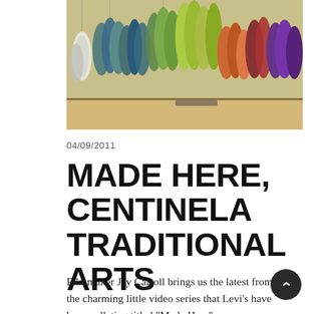[Figure (photo): Photograph of colorful bundles of yarn or thread hanging from a rack, in various colors including blue, green, teal, yellow-green, orange, red, purple, and white.]
04/09/2011
MADE HERE, CENTINELA TRADITIONAL ARTS
Filmmaker Jay Carroll brings us the latest from the charming little video series that Levi's have been collating titled "Made Here".